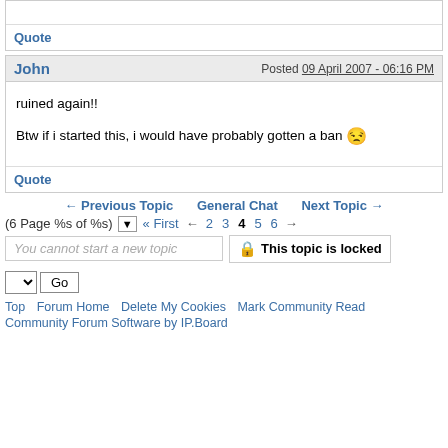Quote
John — Posted 09 April 2007 - 06:16 PM
ruined again!!
Btw if i started this, i would have probably gotten a ban
Quote
← Previous Topic   General Chat   Next Topic →
(6 Page %s of %s) ▼  « First ← 2 3 4 5 6 →
You cannot start a new topic   🔒 This topic is locked
▼ Go
Top  Forum Home  Delete My Cookies  Mark Community Read
Community Forum Software by IP.Board